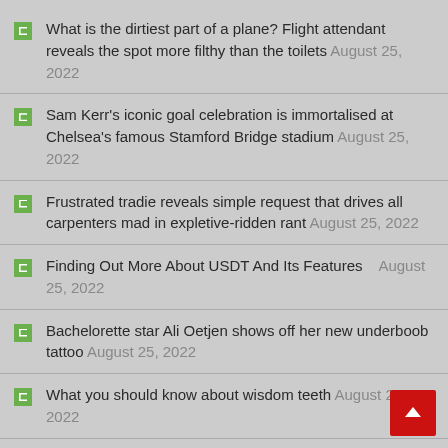What is the dirtiest part of a plane? Flight attendant reveals the spot more filthy than the toilets August 25, 2022
Sam Kerr's iconic goal celebration is immortalised at Chelsea's famous Stamford Bridge stadium August 25, 2022
Frustrated tradie reveals simple request that drives all carpenters mad in expletive-ridden rant August 25, 2022
Finding Out More About USDT And Its Features   August 25, 2022
Bachelorette star Ali Oetjen shows off her new underboob tattoo August 25, 2022
What you should know about wisdom teeth August 25, 2022